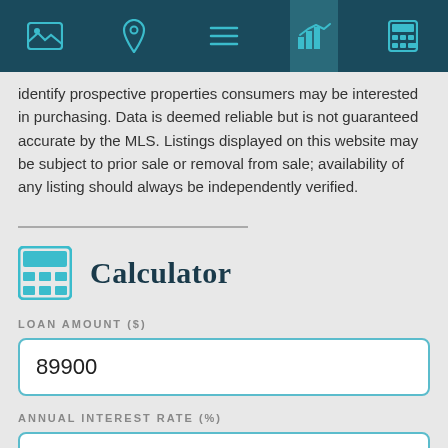Navigation bar with icons: image, location pin, menu, chart (active), calculator
identify prospective properties consumers may be interested in purchasing. Data is deemed reliable but is not guaranteed accurate by the MLS. Listings displayed on this website may be subject to prior sale or removal from sale; availability of any listing should always be independently verified.
Calculator
LOAN AMOUNT ($)
89900
ANNUAL INTEREST RATE (%)
4